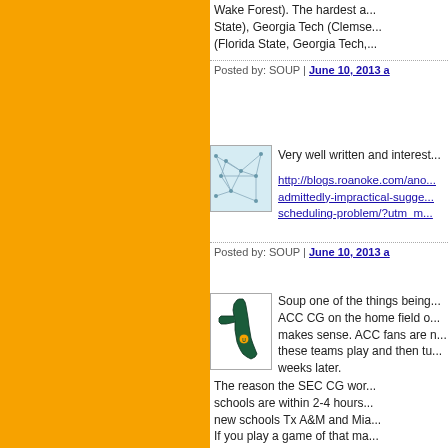Wake Forest). The hardest a... State), Georgia Tech (Clemse... (Florida State, Georgia Tech,...
Posted by: SOUP | June 10, 2013 a
[Figure (illustration): Avatar image with network/map pattern on light blue background]
Very well written and interest...
http://blogs.roanoke.com/ano... admittedly-impractical-sugge... scheduling-problem/?utm_m...
Posted by: SOUP | June 10, 2013 a
[Figure (illustration): Avatar image showing Florida state map outline with University of Miami logo]
Soup one of the things being... ACC CG on the home field o... makes sense. ACC fans are n... these teams play and then tu... weeks later. The reason the SEC CG wor... schools are within 2-4 hours... new schools Tx A&M and Mia... If you play a game of that ma...